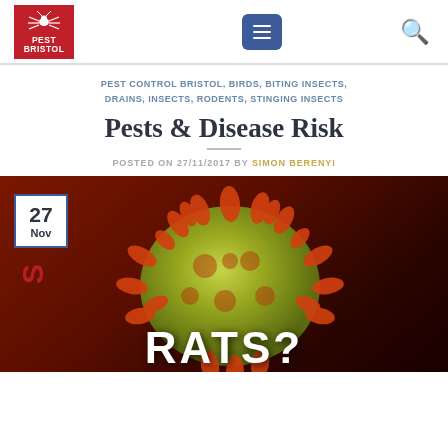[Figure (logo): Pest Bristol logo: red square with spider/bug graphic and text PEST BRISTOL]
PEST CONTROL BRISTOL, BIRDS, BITING INSECTS, DRAINS, INSECTS, RODENTS, STINGING INSECTS
Pests & Disease Risk
POSTED ON 27/11/2017 BY SIMON BERENYI
[Figure (photo): Close-up microscopic image of a coronavirus/virus particle with orange spiky protrusions on a dark red background, overlaid with large white text 'RATS?' and red side text]